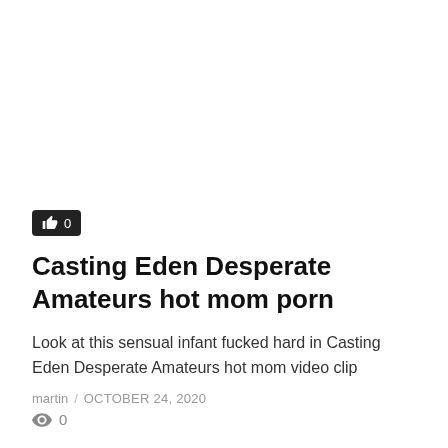[Figure (other): Like button with thumbs up icon showing count 0]
Casting Eden Desperate Amateurs hot mom porn
Look at this sensual infant fucked hard in Casting Eden Desperate Amateurs hot mom video clip
martin / OCTOBER 24, 2020
👁 0